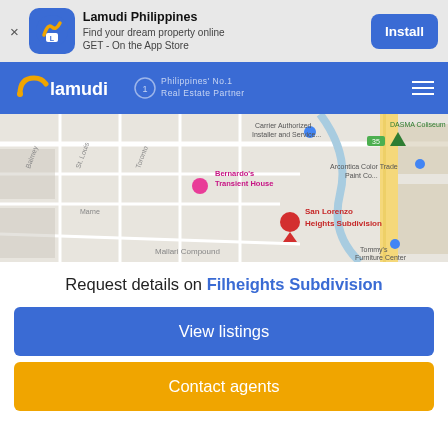[Figure (screenshot): App install banner for Lamudi Philippines with icon, text 'Find your dream property online GET - On the App Store', and Install button]
[Figure (screenshot): Lamudi navigation bar with logo, 'Philippines No.1 Real Estate Partner' tagline, and hamburger menu]
[Figure (map): Google Maps screenshot showing San Lorenzo Heights Subdivision area with nearby landmarks including DASMA Coliseum, Bernardo's Transient House, and Mallari Compound]
Request details on Filheights Subdivision
View listings
Contact agents